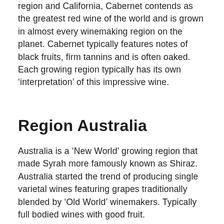region and California, Cabernet contends as the greatest red wine of the world and is grown in almost every winemaking region on the planet. Cabernet typically features notes of black fruits, firm tannins and is often oaked. Each growing region typically has its own ‘interpretation’ of this impressive wine.
Region Australia
Australia is a ‘New World’ growing region that made Syrah more famously known as Shiraz. Australia started the trend of producing single varietal wines featuring grapes traditionally blended by ‘Old World’ winemakers. Typically full bodied wines with good fruit.